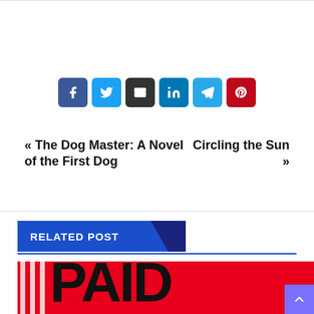[Figure (infographic): Six social share buttons: Facebook (blue), Twitter (light blue), Email (dark gray), LinkedIn (teal blue), Telegram (sky blue), Pinterest (red)]
« The Dog Master: A Novel of the First Dog
Circling the Sun »
RELATED POST
[Figure (photo): Partial book cover with red background and large black letters, white vertical stripes on left side]